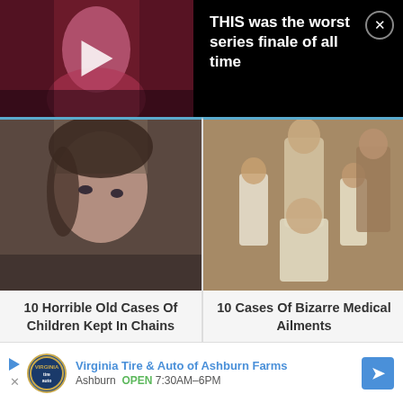[Figure (screenshot): Top banner with video thumbnail on the left showing a dark pink/red toned face close-up with a play button, and black background on the right with white headline text and a close button]
THIS was the worst series finale of all time
[Figure (photo): Close-up photo of a young child's face with dark hair and intense eyes, moody lighting]
10 Horrible Old Cases Of Children Kept In Chains
[Figure (photo): Old-style family portrait painting showing a bearded man, woman, and several children in white clothing]
10 Cases Of Bizarre Medical Ailments
[Figure (photo): Partial view of a baby or infant, blurred]
[Figure (photo): Partial view of a young man against a teal/blue background]
Virginia Tire & Auto of Ashburn Farms
Ashburn  OPEN  7:30AM–6PM